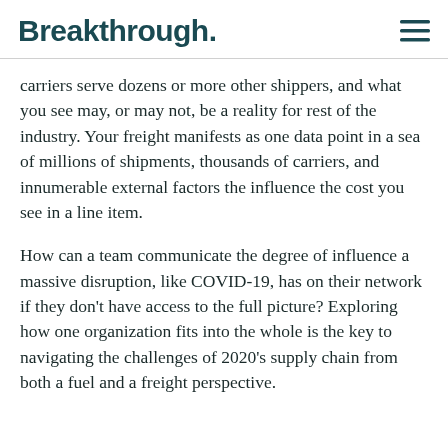Breakthrough.
carriers serve dozens or more other shippers, and what you see may, or may not, be a reality for rest of the industry. Your freight manifests as one data point in a sea of millions of shipments, thousands of carriers, and innumerable external factors the influence the cost you see in a line item.
How can a team communicate the degree of influence a massive disruption, like COVID-19, has on their network if they don't have access to the full picture? Exploring how one organization fits into the whole is the key to navigating the challenges of 2020's supply chain from both a fuel and a freight perspective.